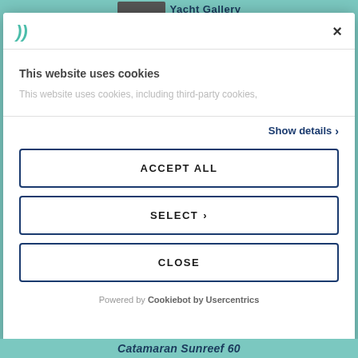Yacht Gallery
[Figure (logo): Cookiebot logo with teal wave/bracket symbol]
×
This website uses cookies
This website uses cookies, including third-party cookies,
Show details ›
ACCEPT ALL
SELECT ›
CLOSE
Powered by Cookiebot by Usercentrics
Catamaran Sunreef 60